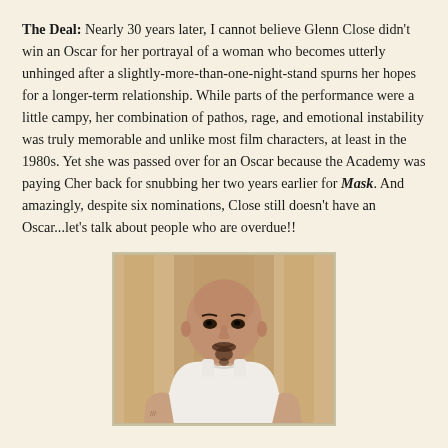The Deal: Nearly 30 years later, I cannot believe Glenn Close didn't win an Oscar for her portrayal of a woman who becomes utterly unhinged after a slightly-more-than-one-night-stand spurns her hopes for a longer-term relationship. While parts of the performance were a little campy, her combination of pathos, rage, and emotional instability was truly memorable and unlike most film characters, at least in the 1980s. Yet she was passed over for an Oscar because the Academy was paying Cher back for snubbing her two years earlier for Mask. And amazingly, despite six nominations, Close still doesn't have an Oscar...let's talk about people who are overdue!!
[Figure (photo): A bald man with a goatee wearing a white sleeveless tank top, photographed from the chest up with a blurred warm-toned background. He has a tattoo on his left arm.]